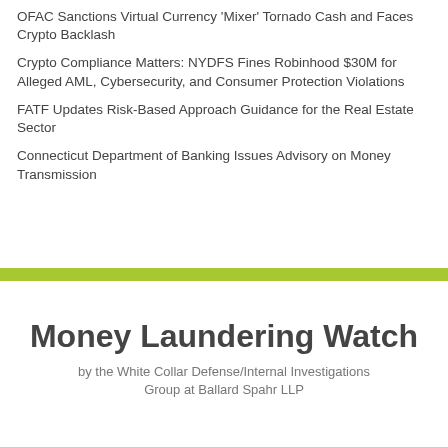OFAC Sanctions Virtual Currency 'Mixer' Tornado Cash and Faces Crypto Backlash
Crypto Compliance Matters: NYDFS Fines Robinhood $30M for Alleged AML, Cybersecurity, and Consumer Protection Violations
FATF Updates Risk-Based Approach Guidance for the Real Estate Sector
Connecticut Department of Banking Issues Advisory on Money Transmission
Money Laundering Watch
by the White Collar Defense/Internal Investigations Group at Ballard Spahr LLP